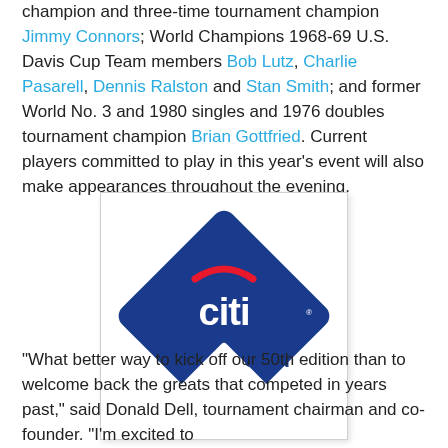champion and three-time tournament champion Jimmy Connors; World Champions 1968-69 U.S. Davis Cup Team members Bob Lutz, Charlie Pasarell, Dennis Ralston and Stan Smith; and former World No. 3 and 1980 singles and 1976 doubles tournament champion Brian Gottfried. Current players committed to play in this year's event will also make appearances throughout the evening.
[Figure (logo): Citi Open tennis tournament logo — blue diamond shape with 'citi' in white lowercase letters and a red arc above, with 'OPEN' in white text in the lower right corner of the diamond]
“What better way to kick off our 50th edition than to welcome back the greats that competed in years past,” said Donald Dell, tournament chairman and co-founder. “I’m excited to